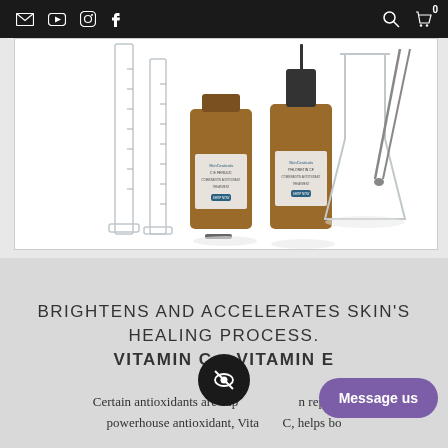Navigation bar with email, YouTube, Instagram, Facebook icons on left; search and cart icons on right
[Figure (photo): Product photo showing two amber glass dropper bottles of SkinCeuticals serum products surrounded by laboratory glassware including graduated cylinders and a large flask, on a white background]
BRIGHTENS AND ACCELERATES SKIN'S HEALING PROCESS. VITAMIN C + VITAMIN E
Certain antioxidants are superior in repairing powerhouse antioxidant, Vitamin C, helps bo...